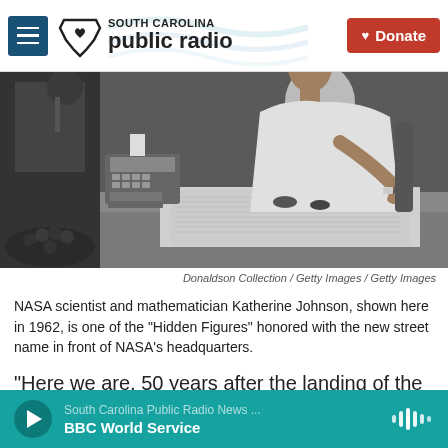South Carolina Public Radio | Donate
[Figure (photo): Black and white photo of NASA scientist and mathematician Katherine Johnson seated at a desk, writing on papers, with a calculator/adding machine visible to her left, photographed in 1962.]
Donaldson Collection / Getty Images  /  Getty Images
NASA scientist and mathematician Katherine Johnson, shown here in 1962, is one of the "Hidden Figures" honored with the new street name in front of NASA's headquarters.
"Here we are, 50 years after the landing of the
South Carolina Public Radio News ... BBC World Service